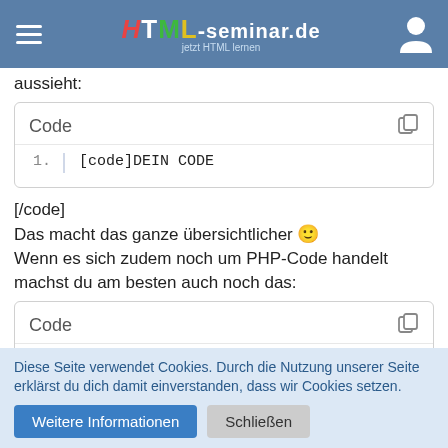HTML-seminar.de jetzt HTML lernen
aussieht:
[Figure (screenshot): Code box showing line 1: [code]DEIN CODE with copy icon]
[/code]
Das macht das ganze übersichtlicher 🙂
Wenn es sich zudem noch um PHP-Code handelt machst du am besten auch noch das:
[Figure (screenshot): Code box showing line 1: [code=php] with copy icon]
Diese Seite verwendet Cookies. Durch die Nutzung unserer Seite erklärst du dich damit einverstanden, dass wir Cookies setzen.